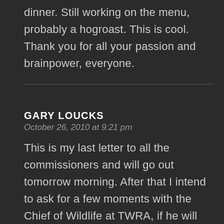dinner. Still working on the menu, probably a hogroast. This is cool. Thank you for all your passion and brainpower, everyone.
GARY LOUCKS
October 26, 2010 at 9:21 pm
This is my last letter to all the commissioners and will go out tomorrow morning. After that I intend to ask for a few moments with the Chief of Wildlife at TWRA, if he will allow it. Please send letters out to the commissioners super